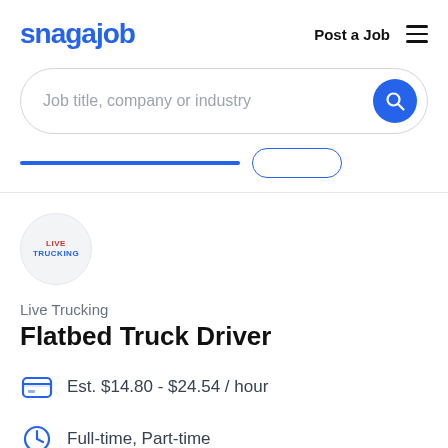snagajob | Post a Job
[Figure (screenshot): Search bar with placeholder text 'Job title, company or industry' and blue circular search button]
[Figure (logo): Live Trucking company logo — circular badge with 'LIVE TRUCKING' text in red and blue]
Live Trucking
Flatbed Truck Driver
Est. $14.80 - $24.54 / hour
Full-time, Part-time